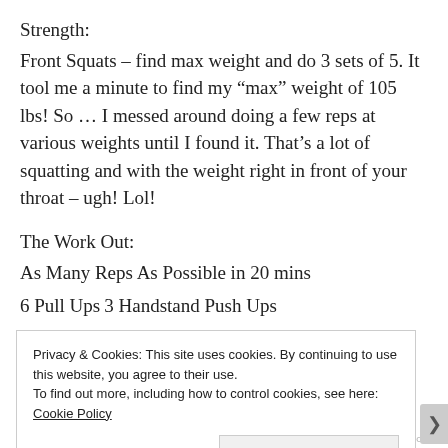Strength:
Front Squats – find max weight and do 3 sets of 5. It tool me a minute to find my “max” weight of 105 lbs! So … I messed around doing a few reps at various weights until I found it. That’s a lot of squatting and with the weight right in front of your throat – ugh! Lol!
The Work Out:
As Many Reps As Possible in 20 mins
6 Pull Ups
3 Handstand Push Ups
Privacy & Cookies: This site uses cookies. By continuing to use this website, you agree to their use.
To find out more, including how to control cookies, see here: Cookie Policy
Close and accept